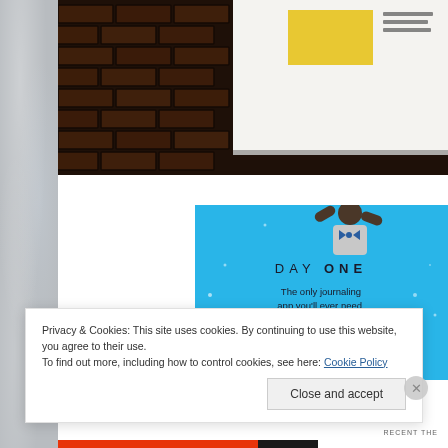[Figure (photo): Photo of a brick wall with a white poster board mounted on the right side. The poster board has a yellow rectangle and small text lines on it.]
[Figure (screenshot): Advertisement for Day One journaling app on a blue background. Shows a cartoon figure, the text 'DAY ONE' and 'The only journaling app you'll ever need.' with a dark button below.]
Privacy & Cookies: This site uses cookies. By continuing to use this website, you agree to their use.
To find out more, including how to control cookies, see here: Cookie Policy